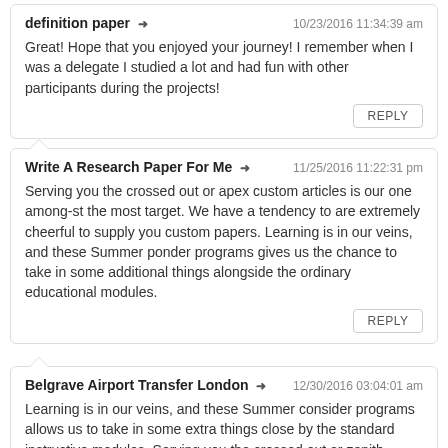definition paper ➜  10/23/2016 11:34:39 am
Great! Hope that you enjoyed your journey! I remember when I was a delegate I studied a lot and had fun with other participants during the projects!
REPLY
Write A Research Paper For Me ➜  11/25/2016 11:22:31 pm
Serving you the crossed out or apex custom articles is our one among-st the most target. We have a tendency to are extremely cheerful to supply you custom papers. Learning is in our veins, and these Summer ponder programs gives us the chance to take in some additional things alongside the ordinary educational modules.
REPLY
Belgrave Airport Transfer London ➜  12/30/2016 03:04:01 am
Learning is in our veins, and these Summer consider programs allows us to take in some extra things close by the standard instructive modules. Serving you the crossed out or zenith